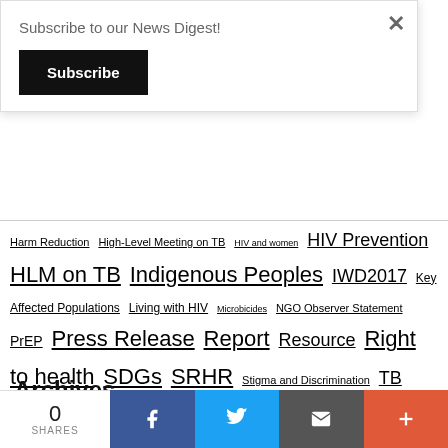Subscribe to our News Digest!
Subscribe
Harm Reduction High-Level Meeting on TB HIV and women HIV Prevention HLM on TB Indigenous Peoples IWD2017 Key Affected Populations Living with HIV Microbicides NGO Observer Statement PrEP Press Release Report Resource Right to health SDGs SRHR Stigma and Discrimination TB TB/HIV The Global Fund Treatment Access UNAIDS UNAIDS PCB WAD2016 Women and Girls World AIDS Day World AIDS Day 2018
Archives
0 SHARES